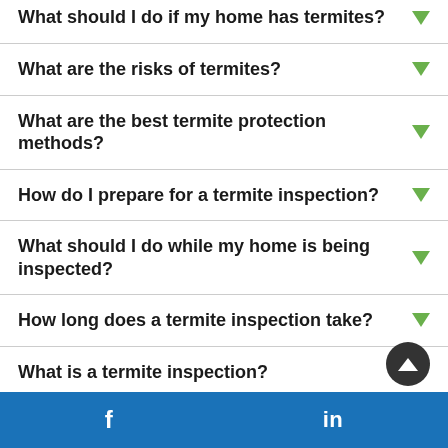What should I do if my home has termites?
What are the risks of termites?
What are the best termite protection methods?
How do I prepare for a termite inspection?
What should I do while my home is being inspected?
How long does a termite inspection take?
What is a termite inspection?
What areas will be inspected?
f   in